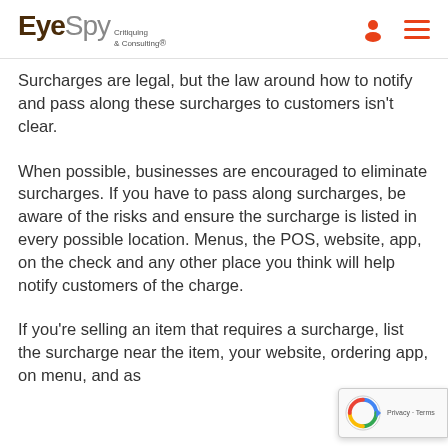EyeSpy Critiquing & Consulting®
Surcharges are legal, but the law around how to notify and pass along these surcharges to customers isn't clear.
When possible, businesses are encouraged to eliminate surcharges. If you have to pass along surcharges, be aware of the risks and ensure the surcharge is listed in every possible location. Menus, the POS, website, app, on the check and any other place you think will help notify customers of the charge.
If you're selling an item that requires a surcharge, list the surcharge near the item, your website, ordering app, on menu, and as